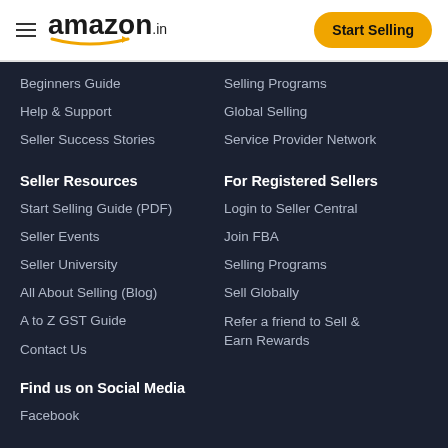amazon.in | Start Selling
Beginners Guide
Selling Programs
Help & Support
Global Selling
Seller Success Stories
Service Provider Network
Seller Resources
For Registered Sellers
Start Selling Guide (PDF)
Login to Seller Central
Seller Events
Join FBA
Seller University
Selling Programs
All About Selling (Blog)
Sell Globally
A to Z GST Guide
Refer a friend to Sell & Earn Rewards
Contact Us
Find us on Social Media
Facebook